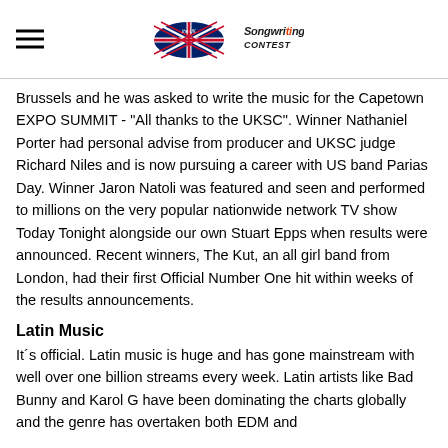The UK Songwriting Contest
Brussels and he was asked to write the music for the Capetown EXPO SUMMIT - "All thanks to the UKSC". Winner Nathaniel Porter had personal advise from producer and UKSC judge Richard Niles and is now pursuing a career with US band Parias Day. Winner Jaron Natoli was featured and seen and performed to millions on the very popular nationwide network TV show Today Tonight alongside our own Stuart Epps when results were announced. Recent winners, The Kut, an all girl band from London, had their first Official Number One hit within weeks of the results announcements.
Latin Music
It´s official. Latin music is huge and has gone mainstream with well over one billion streams every week. Latin artists like Bad Bunny and Karol G have been dominating the charts globally and the genre has overtaken both EDM and Country in some areas. Estimated a Billion+ attention...